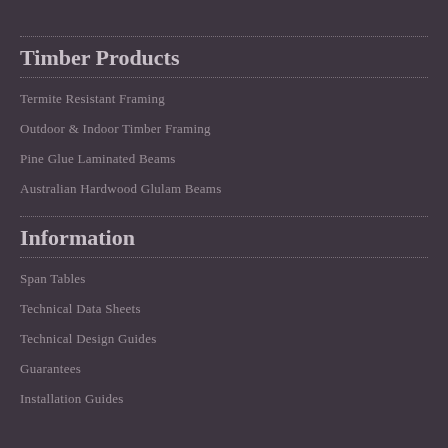Timber Products
Termite Resistant Framing
Outdoor & Indoor Timber Framing
Pine Glue Laminated Beams
Australian Hardwood Glulam Beams
Information
Span Tables
Technical Data Sheets
Technical Design Guides
Guarantees
Installation Guides